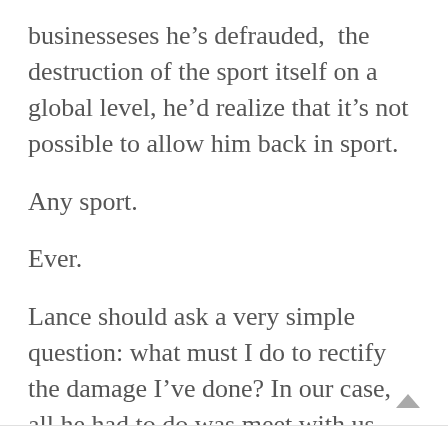businesseses he’s defrauded,  the destruction of the sport itself on a global level, he’d realize that it’s not possible to allow him back in sport.
Any sport.
Ever.
Lance should ask a very simple question: what must I do to rectify the damage I’ve done? In our case, all he had to do was meet with us – nothing more nothing less.